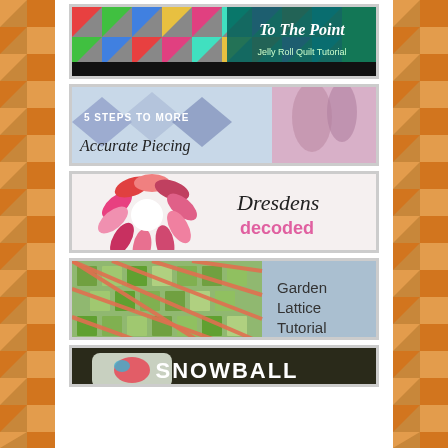[Figure (illustration): Banner image: colorful quilt triangles with teal/green overlay text reading 'To The Point – Jelly Roll Quilt Tutorial']
[Figure (illustration): Photo of quilt fabric and cutting mat with text '5 Steps to More Accurate Piecing' in script font]
[Figure (illustration): Pink and red Dresden plate quilt block with text 'Dresdens decoded' in script and pink sans-serif]
[Figure (illustration): Green and coral lattice quilt pattern photo with text 'Garden Lattice Tutorial' in sans-serif]
[Figure (illustration): Dark background with pillow and partial text 'SNOWBALL' visible at bottom]